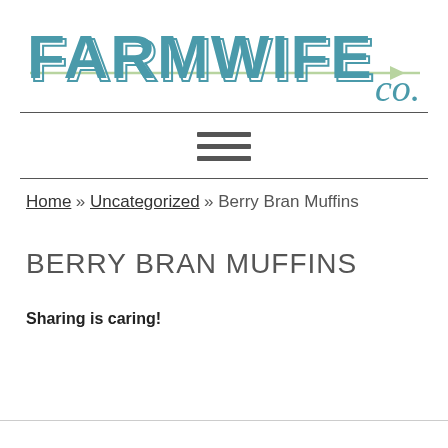FARMWIFE CO
Home » Uncategorized » Berry Bran Muffins
BERRY BRAN MUFFINS
Sharing is caring!